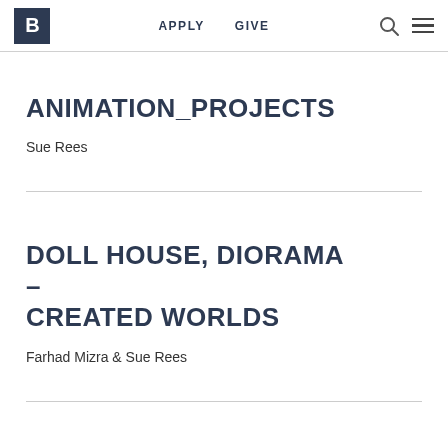B | APPLY | GIVE
ANIMATION_PROJECTS
Sue Rees
DOLL HOUSE, DIORAMA – CREATED WORLDS
Farhad Mizra & Sue Rees